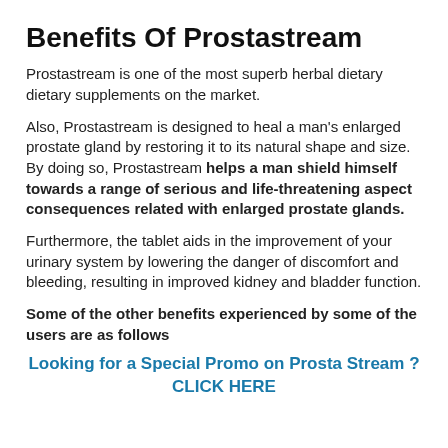Benefits Of Prostastream
Prostastream is one of the most superb herbal dietary dietary supplements on the market.
Also, Prostastream is designed to heal a man’s enlarged prostate gland by restoring it to its natural shape and size. By doing so, Prostastream helps a man shield himself towards a range of serious and life-threatening aspect consequences related with enlarged prostate glands.
Furthermore, the tablet aids in the improvement of your urinary system by lowering the danger of discomfort and bleeding, resulting in improved kidney and bladder function.
Some of the other benefits experienced by some of the users are as follows
Looking for a Special Promo on Prosta Stream ? CLICK HERE